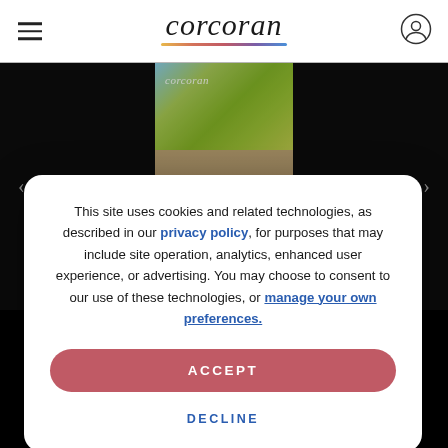[Figure (screenshot): Corcoran real estate website header with hamburger menu icon on left, italic Corcoran logo in center with multicolor underline, and user/profile icon on right]
[Figure (photo): Background showing building with yellow-green tree foliage against blue sky, partially visible, with Corcoran italic logo watermark overlay. Dark/black sidebar areas on left and right.]
This site uses cookies and related technologies, as described in our privacy policy, for purposes that may include site operation, analytics, enhanced user experience, or advertising. You may choose to consent to our use of these technologies, or manage your own preferences.
ACCEPT
DECLINE